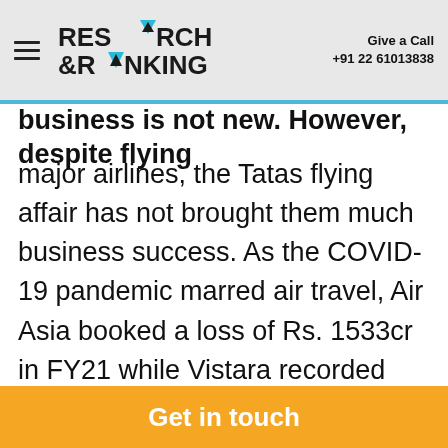RESEARCH & RANKING | Give a Call +91 22 61013838
business is not new. However, despite flying major airlines, the Tatas flying affair has not brought them much business success. As the COVID-19 pandemic marred air travel, Air Asia booked a loss of Rs. 1533cr in FY21 while Vistara recorded Rs. 1,612cr in loss.

Only time can answer how things turn out for both Air India and its former parent.
Get in touch